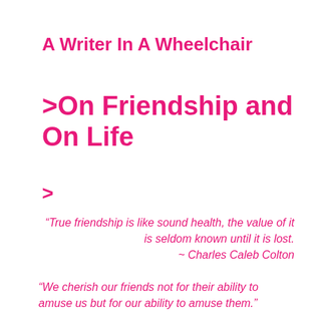A Writer In A Wheelchair
>On Friendship and On Life
>
“True friendship is like sound health, the value of it is seldom known until it is lost. ~ Charles Caleb Colton
“We cherish our friends not for their ability to amuse us but for our ability to amuse them.”